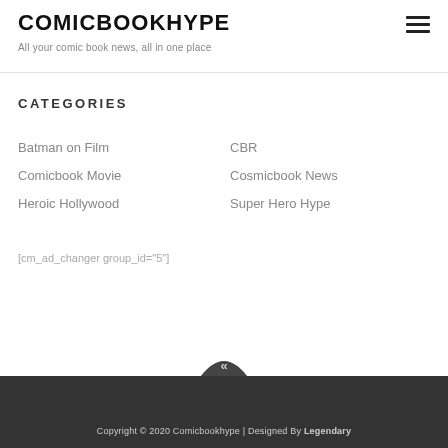COMICBOOKHYPE
All your comic book news, all in one place
CATEGORIES
Batman on Film
CBR
Comicbook Movie
Cosmicbook News
Heroic Hollywood
Super Hero Hype
[cm_ad_changer group_id="5"]
Copyright © 2020 Comicbookhype | Designed By Legendary